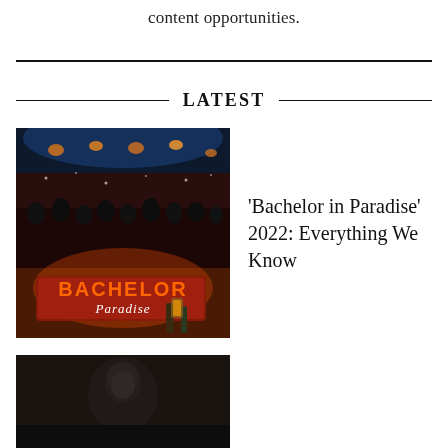content opportunities.
LATEST
[Figure (photo): Bachelor in Paradise TV show set with audience and Bachelor in Paradise sign in the foreground, colorful lanterns overhead]
'Bachelor in Paradise' 2022: Everything We Know
[Figure (photo): Dark scene from a TV show or movie, partially visible at bottom of page]